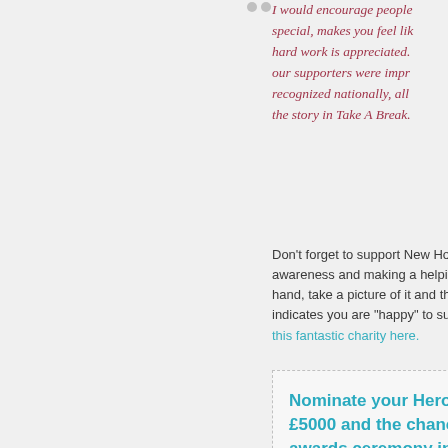I would encourage people... special, makes you feel like... hard work is appreciated... our supporters were impr... recognized nationally, all... the story in Take A Break.
Don't forget to support New Hope's 'H... awareness and making a helping hand... hand, take a picture of it and then shar... indicates you are "happy" to support th... this fantastic charity here.
Nominate your Hero now... £5000 and the chance to... awards ceremony in Lon...